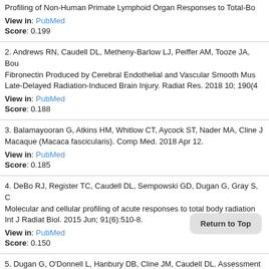Profiling of Non-Human Primate Lymphoid Organ Responses to Total-Bo
View in: PubMed
Score: 0.199
2. Andrews RN, Caudell DL, Metheny-Barlow LJ, Peiffer AM, Tooze JA, Bou Fibronectin Produced by Cerebral Endothelial and Vascular Smooth Mus Late-Delayed Radiation-Induced Brain Injury. Radiat Res. 2018 10; 190(4
View in: PubMed
Score: 0.188
3. Balamayooran G, Atkins HM, Whitlow CT, Aycock ST, Nader MA, Cline J Macaque (Macaca fascicularis). Comp Med. 2018 Apr 12.
View in: PubMed
Score: 0.185
4. DeBo RJ, Register TC, Caudell DL, Sempowski GD, Dugan G, Gray S, C Molecular and cellular profiling of acute responses to total body radiation Int J Radiat Biol. 2015 Jun; 91(6):510-8.
View in: PubMed
Score: 0.150
5. Dugan G, O'Donnell L, Hanbury DB, Cline JM, Caudell DL. Assessment o hirudin in Rhesus macaques. Platelets. 2015; 26(8):730-5.